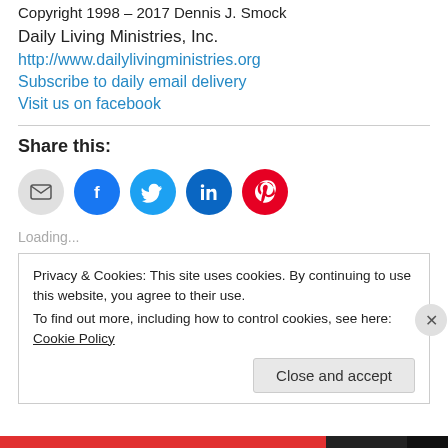Copyright 1998 – 2017 Dennis J. Smock
Daily Living Ministries, Inc.
http://www.dailylivingministries.org
Subscribe to daily email delivery
Visit us on facebook
Share this:
[Figure (infographic): Social share icons: email (grey), facebook (blue), twitter (light blue), linkedin (dark blue), pinterest (red)]
Loading...
Privacy & Cookies: This site uses cookies. By continuing to use this website, you agree to their use.
To find out more, including how to control cookies, see here: Cookie Policy